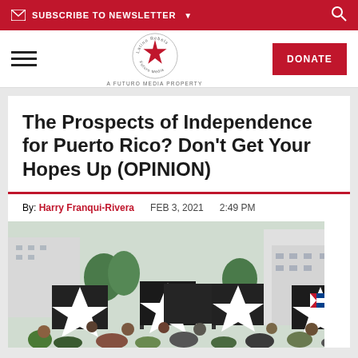SUBSCRIBE TO NEWSLETTER
[Figure (logo): Latino Rebels / Futuro Media logo — circular badge with red star]
The Prospects of Independence for Puerto Rico? Don't Get Your Hopes Up (OPINION)
By: Harry Franqui-Rivera   FEB 3, 2021   2:49 PM
[Figure (photo): Crowd of protesters in an urban setting holding large black Puerto Rican flags with white star designs, buildings visible in background]